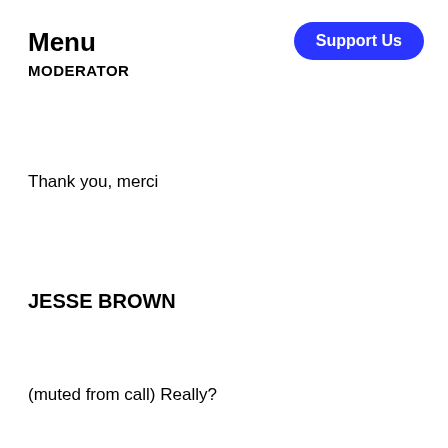Menu
MODERATOR
[Figure (other): Support Us button — blue rounded rectangle with white bold text]
Thank you, merci
JESSE BROWN
(muted from call) Really?